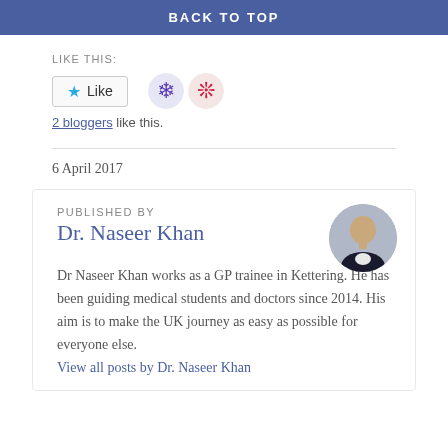BACK TO TOP
LIKE THIS:
2 bloggers like this.
6 April 2017
PUBLISHED BY
Dr. Naseer Khan
[Figure (photo): Circular avatar photo of Dr. Naseer Khan, a man in a dark suit]
Dr Naseer Khan works as a GP trainee in Kettering. He has been guiding medical students and doctors since 2014. His aim is to make the UK journey as easy as possible for everyone else.
View all posts by Dr. Naseer Khan